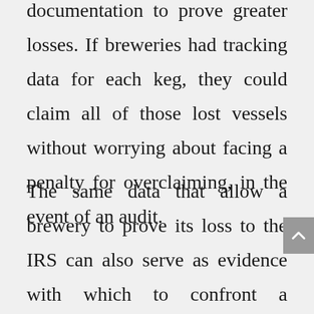documentation to prove greater losses. If breweries had tracking data for each keg, they could claim all of those lost vessels without worrying about facing a penalty for overclaiming, in the event of an audit.
The same data that allow a brewery to prove its loss to the IRS can also serve as evidence with which to confront a distributor for losing kegs. Sometimes a retailer collects a larger deposit than the